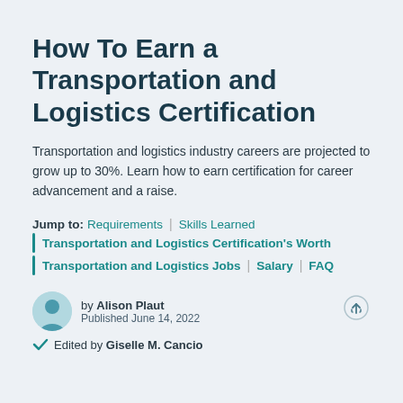How To Earn a Transportation and Logistics Certification
Transportation and logistics industry careers are projected to grow up to 30%. Learn how to earn certification for career advancement and a raise.
Jump to: Requirements | Skills Learned | Transportation and Logistics Certification's Worth | Transportation and Logistics Jobs | Salary | FAQ
by Alison Plaut
Published June 14, 2022
Edited by Giselle M. Cancio